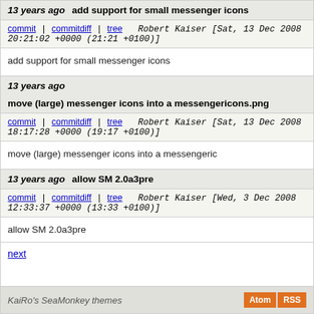13 years ago   add support for small messenger icons
commit | commitdiff | tree   Robert Kaiser [Sat, 13 Dec 2008 20:21:02 +0000 (21:21 +0100)]
add support for small messenger icons
13 years ago   move (large) messenger icons into a messengericons.png
commit | commitdiff | tree   Robert Kaiser [Sat, 13 Dec 2008 18:17:28 +0000 (19:17 +0100)]
move (large) messenger icons into a messengeric
13 years ago   allow SM 2.0a3pre
commit | commitdiff | tree   Robert Kaiser [Wed, 3 Dec 2008 12:33:37 +0000 (13:33 +0100)]
allow SM 2.0a3pre
next
KaiRo's SeaMonkey themes   Atom  RSS